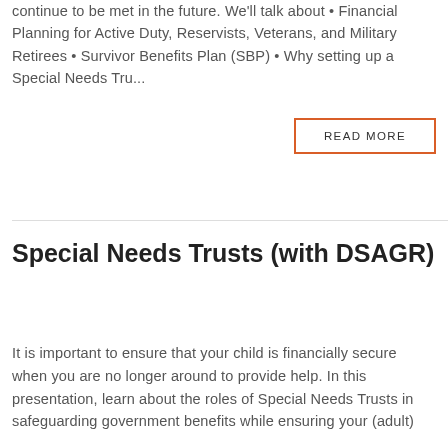continue to be met in the future. We'll talk about • Financial Planning for Active Duty, Reservists, Veterans, and Military Retirees • Survivor Benefits Plan (SBP) • Why setting up a Special Needs Tru...
READ MORE
Special Needs Trusts (with DSAGR)
It is important to ensure that your child is financially secure when you are no longer around to provide help. In this presentation, learn about the roles of Special Needs Trusts in safeguarding government benefits while ensuring your (adult)